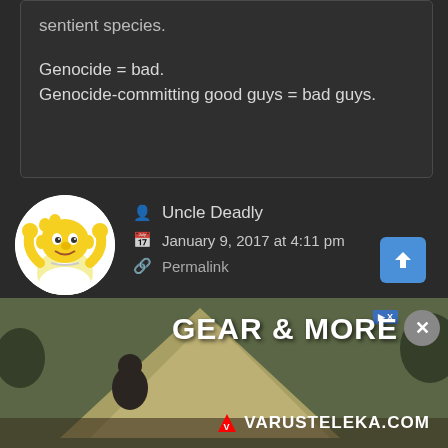sentient species.

Genocide = bad.
Genocide-committing good guys = bad guys.
Uncle Deadly
January 9, 2017 at 4:11 pm
Permalink
[Figure (illustration): Homer Simpson avatar - circular profile picture showing Homer Simpson cartoon character with arms raised]
You don't judge an entire species by the actions of a few.
[Figure (photo): Advertisement banner showing a man sitting by a tent outdoors with text GEAR & MORE and VARUSTELEKA.COM]